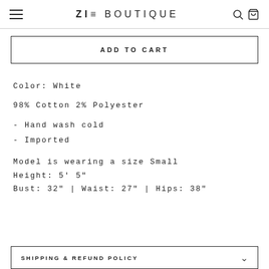ZIE BOUTIQUE
ADD TO CART
Color: White
98% Cotton 2% Polyester
- Hand wash cold
- Imported
Model is wearing a size Small
Height: 5' 5"
Bust: 32" | Waist: 27" | Hips: 38"
SHIPPING & REFUND POLICY